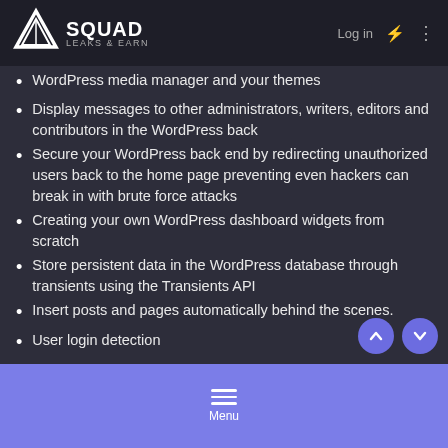Squad Leaks & Earn — Log in
WordPress media manager and your themes
Display messages to other administrators, writers, editors and contributors in the WordPress back
Secure your WordPress back end by redirecting unauthorized users back to the home page preventing even hackers can break in with brute force attacks
Creating your own WordPress dashboard widgets from scratch
Store persistent data in the WordPress database through transients using the Transients API
Insert posts and pages automatically behind the scenes.
User login detection
Requirements
Basic WordPress Skills
Basic HTML and CSS
Basic PHP a plus, but not required
Menu